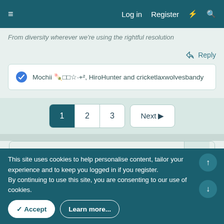≡   Log in   Register   ⚡   🔍
Mochii 🍡□□☆·+², HiroHunter and cricketlaxwolvesbandy
1  2  3  Next ▶
[Figure (screenshot): Reply text editor with toolbar containing Bold, Italic, list, link, image, emoji buttons, and placeholder text 'Write your reply...']
This site uses cookies to help personalise content, tailor your experience and to keep you logged in if you register.
By continuing to use this site, you are consenting to our use of cookies.
✓ Accept   Learn more...